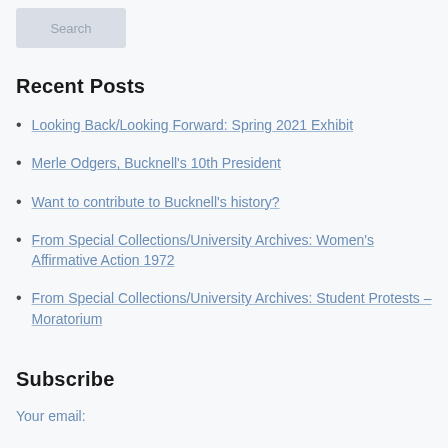[Figure (screenshot): Search button in light grey]
Recent Posts
Looking Back/Looking Forward: Spring 2021 Exhibit
Merle Odgers, Bucknell's 10th President
Want to contribute to Bucknell's history?
From Special Collections/University Archives: Women's Affirmative Action 1972
From Special Collections/University Archives: Student Protests – Moratorium
Subscribe
Your email: